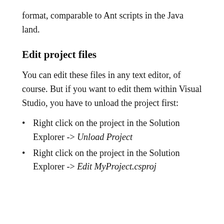format, comparable to Ant scripts in the Java land.
Edit project files
You can edit these files in any text editor, of course. But if you want to edit them within Visual Studio, you have to unload the project first:
Right click on the project in the Solution Explorer -> Unload Project
Right click on the project in the Solution Explorer -> Edit MyProject.csproj